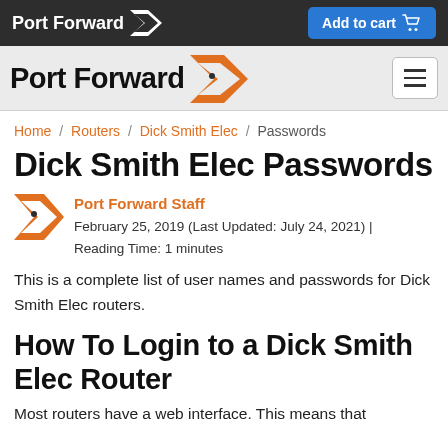Port Forward | Add to cart
[Figure (logo): Port Forward logo with orange arrow icon and hamburger menu button on gray background]
Home / Routers / Dick Smith Elec / Passwords
Dick Smith Elec Passwords
Port Forward Staff
February 25, 2019 (Last Updated: July 24, 2021) | Reading Time: 1 minutes
This is a complete list of user names and passwords for Dick Smith Elec routers.
How To Login to a Dick Smith Elec Router
Most routers have a web interface. This means that